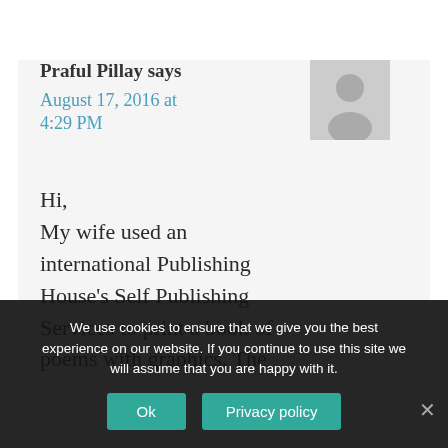Praful Pillay says
August 17, 2016 at 4:29 PM
[Figure (illustration): Grey avatar placeholder image showing a generic person silhouette]
Hi,
My wife used an international Publishing House's Self Publishing Services to print a book of poems with graphics. The
We use cookies to ensure that we give you the best experience on our website. If you continue to use this site we will assume that you are happy with it.